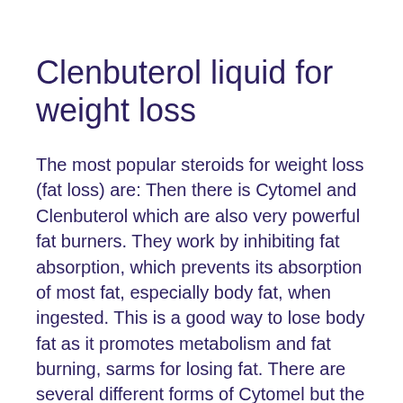Clenbuterol liquid for weight loss
The most popular steroids for weight loss (fat loss) are: Then there is Cytomel and Clenbuterol which are also very powerful fat burners. They work by inhibiting fat absorption, which prevents its absorption of most fat, especially body fat, when ingested. This is a good way to lose body fat as it promotes metabolism and fat burning, sarms for losing fat. There are several different forms of Cytomel but the most popular are called "Cerulean". The most effective form of Cytomel is called Phenylethyl, how to lose weight while on steroids for cancer. In both forms it is an ester and while that means it can be used as a muscle-building